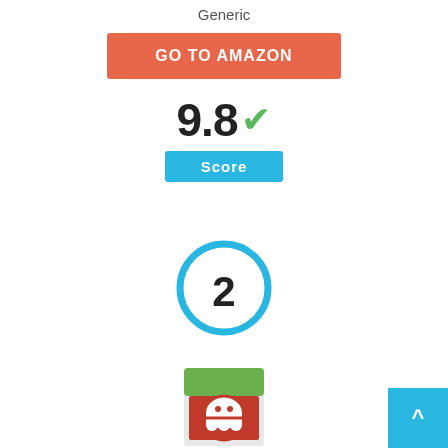Generic
[Figure (other): Orange button labeled GO TO AMAZON]
9.8 ✓
Score
[Figure (other): Circular badge with number 2 inside, blue border]
[Figure (photo): Ghostbusters 2016 Logo USB drive product image]
Ghostbusters 2016 Logo Movie/TV Theme 1GB USB Drive & Funny Geek